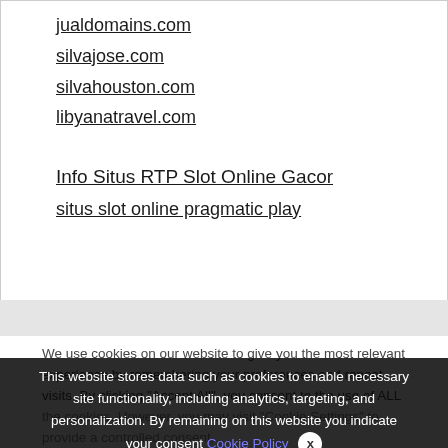jualdomains.com
silvajose.com
silvahouston.com
libyanatravel.com
Info Situs RTP Slot Online Gacor
situs slot online pragmatic play
We use cookies on our website to give you the most relevant experience by remembering your preferences and repeat visits. By clicking "Accept All", you consent to the use of ALL the cookies. However, you may visit "Cookie Settings" to provide a controlled consent.
This website stores data such as cookies to enable necessary site functionality, including analytics, targeting, and personalization. By remaining on this website you indicate your consent Cookie Policy